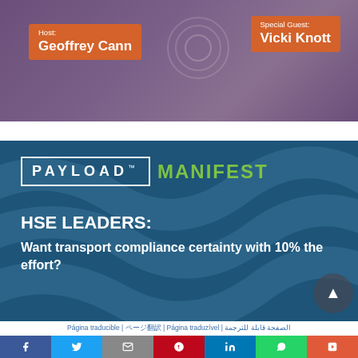[Figure (photo): Top banner with purple background showing two people. Orange tag on left reads 'Host: Geoffrey Cann'. Orange tag on right reads 'Special Guest: Vicki Knott'.]
[Figure (infographic): Dark blue Payload Manifest advertisement banner. Shows PAYLOAD logo in white box with MANIFEST in green text. Text reads: HSE LEADERS: Want transport compliance certainty with 10% the effort?]
Página traducible | ????? | Página traduzível | ??????? ?????
[Figure (infographic): Social sharing bar with icons for Facebook, Twitter, Email, Pinterest, LinkedIn, WhatsApp, and Flipboard]